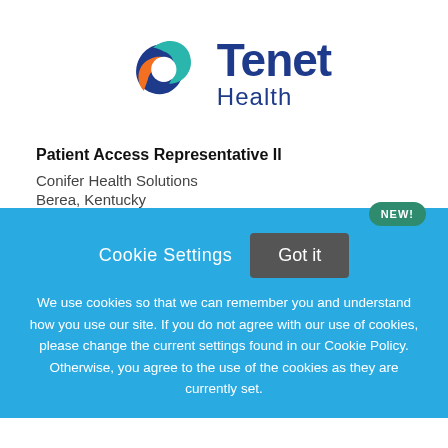[Figure (logo): Tenet Health logo with circular swoosh design in blue, teal, and orange, with 'Tenet Health' text in dark blue]
Patient Access Representative II
Conifer Health Solutions
Berea, Kentucky
NEW!
Cookie Settings  Got it
We use cookies so that we can remember you and understand how you use our site. If you do not agree with our use of cookies, please change the current settings found in our Cookie Policy. Otherwise, you agree to the use of the cookies as they are currently set.